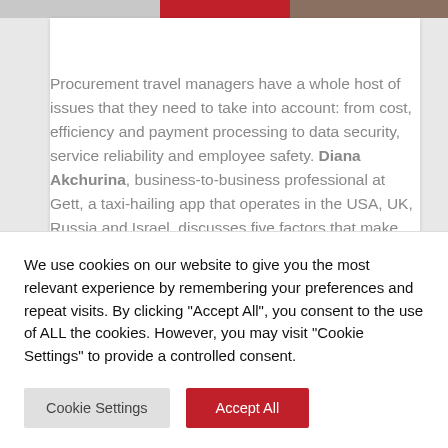[Figure (photo): Top image bar with gray, red, and photo sections]
Procurement travel managers have a whole host of issues that they need to take into account: from cost, efficiency and payment processing to data security, service reliability and employee safety. Diana Akchurina, business-to-business professional at Gett, a taxi-hailing app that operates in the USA, UK, Russia and Israel, discusses five factors that make travel one of the most
We use cookies on our website to give you the most relevant experience by remembering your preferences and repeat visits. By clicking "Accept All", you consent to the use of ALL the cookies. However, you may visit "Cookie Settings" to provide a controlled consent.
Cookie Settings
Accept All